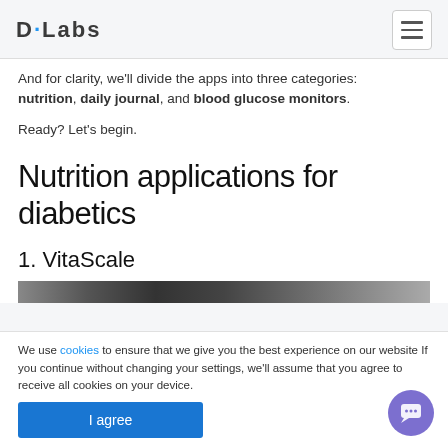D·Labs
And for clarity, we'll divide the apps into three categories: nutrition, daily journal, and blood glucose monitors.
Ready? Let's begin.
Nutrition applications for diabetics
1. VitaScale
[Figure (photo): Partial screenshot/photo of VitaScale app]
We use cookies to ensure that we give you the best experience on our website If you continue without changing your settings, we'll assume that you agree to receive all cookies on your device.
I agree